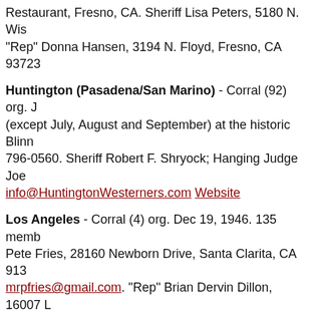Restaurant, Fresno, CA. Sheriff Lisa Peters, 5180 N. Wis... "Rep" Donna Hansen, 3194 N. Floyd, Fresno, CA 93723
Huntington (Pasadena/San Marino) - Corral (92) org. J... (except July, August and September) at the historic Blinn... 796-0560. Sheriff Robert F. Shryock; Hanging Judge Joe... info@HuntingtonWesterners.com  Website
Los Angeles - Corral (4) org. Dec 19, 1946. 135 memb... Pete Fries, 28160 Newborn Drive, Santa Clarita, CA 913... mrpfries@gmail.com. "Rep" Brian Dervin Dillon, 16007 L... briandervindillon@gmail.com. Website
Monterey - Corral (61) org. Feb. 21, 1974. 16 members... Lutheran Church, 52 Soledad Drive, Monterey, CA. Sher... 372-0120 carolznewz@gmail.com
San Diego - Corral (31) org. Sept 25, 1967. 26 member... Avenue, El Cahon, CA. Sheriff Ken Cilch, Sr., 8940 Gow... "Rep" Richard K. Smith, 1570 Villa Crest Drive, El Cajon
San Dimas - Corral (97) org. Jan. 15, 1980. 135 membe...